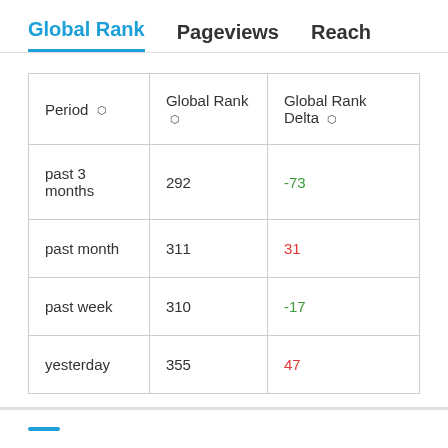Global Rank  Pageviews  Reach
| Period | Global Rank | Global Rank Delta |
| --- | --- | --- |
| past 3 months | 292 | -73 |
| past month | 311 | 31 |
| past week | 310 | -17 |
| yesterday | 355 | 47 |